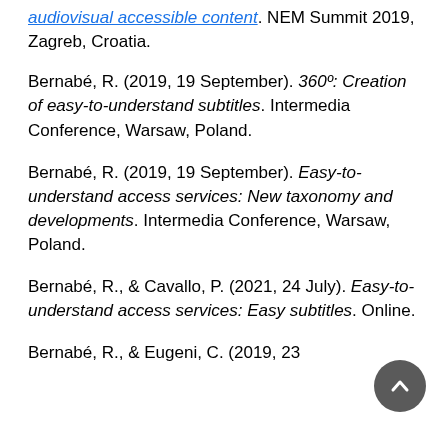audiovisual accessible content. NEM Summit 2019, Zagreb, Croatia.
Bernabé, R. (2019, 19 September). 360º: Creation of easy-to-understand subtitles. Intermedia Conference, Warsaw, Poland.
Bernabé, R. (2019, 19 September). Easy-to-understand access services: New taxonomy and developments. Intermedia Conference, Warsaw, Poland.
Bernabé, R., & Cavallo, P. (2021, 24 July). Easy-to-understand access services: Easy subtitles. Online.
Bernabé, R., & Eugeni, C. (2019, 23